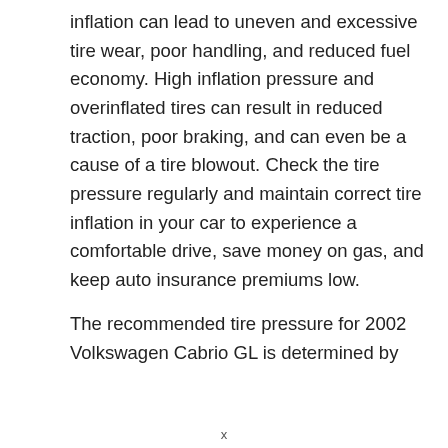inflation can lead to uneven and excessive tire wear, poor handling, and reduced fuel economy. High inflation pressure and overinflated tires can result in reduced traction, poor braking, and can even be a cause of a tire blowout. Check the tire pressure regularly and maintain correct tire inflation in your car to experience a comfortable drive, save money on gas, and keep auto insurance premiums low.
The recommended tire pressure for 2002 Volkswagen Cabrio GL is determined by